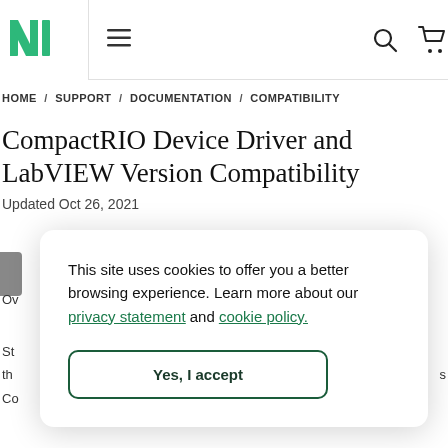NI logo, hamburger menu, search icon, cart icon
HOME / SUPPORT / DOCUMENTATION / COMPATIBILITY
CompactRIO Device Driver and LabVIEW Version Compatibility
Updated Oct 26, 2021
This site uses cookies to offer you a better browsing experience. Learn more about our privacy statement and cookie policy.
Yes, I accept